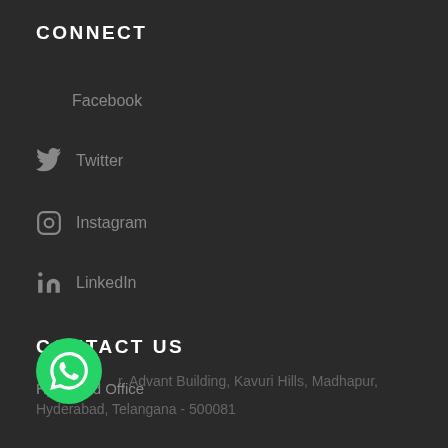CONNECT
Facebook
Twitter
Instagram
LinkedIn
CONTACT US
Hyderbad Office
r, Advant Building, Kavuri Hills, Madhapur, Hyderabad, Telangana - 500081